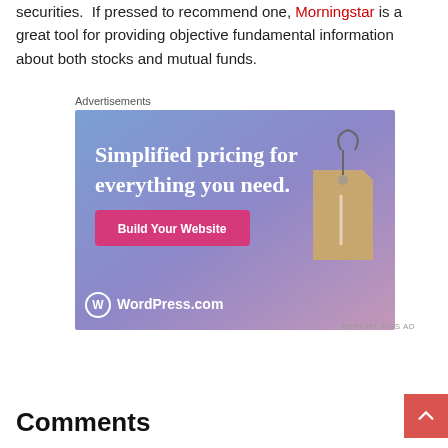securities.  If pressed to recommend one, Morningstar is a great tool for providing objective fundamental information about both stocks and mutual funds.
[Figure (advertisement): WordPress.com advertisement showing 'Simplified pricing for everything you need.' with a 'Build Your Website' button and a price tag image on a blue-purple gradient background.]
REPORT THIS AD
Comments